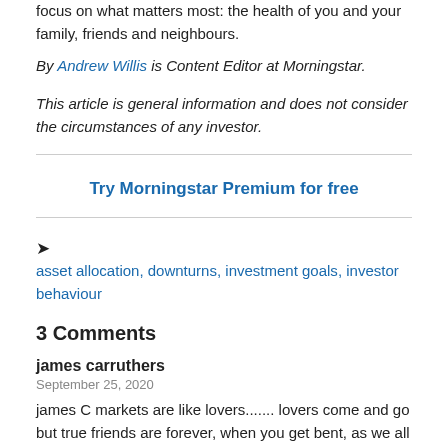focus on what matters most: the health of you and your family, friends and neighbours.
By Andrew Willis is Content Editor at Morningstar.
This article is general information and does not consider the circumstances of any investor.
Try Morningstar Premium for free
asset allocation, downturns, investment goals, investor behaviour
3 Comments
james carruthers
September 25, 2020
james C markets are like lovers....... lovers come and go but true friends are forever, when you get bent, as we all do occasionally,